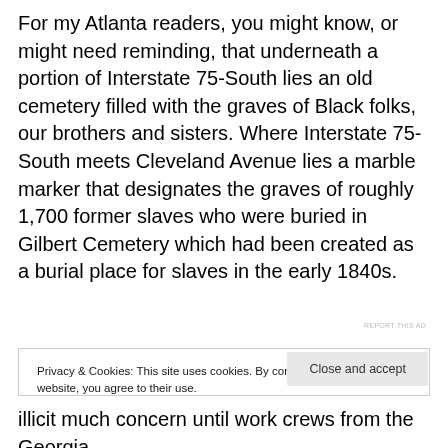For my Atlanta readers, you might know, or might need reminding, that underneath a portion of Interstate 75-South lies an old cemetery filled with the graves of Black folks, our brothers and sisters. Where Interstate 75-South meets Cleveland Avenue lies a marble marker that designates the graves of roughly 1,700 former slaves who were buried in Gilbert Cemetery which had been created as a burial place for slaves in the early 1840s.
REPORT THIS AD
Privacy & Cookies: This site uses cookies. By continuing to use this website, you agree to their use.
To find out more, including how to control cookies, see here: Cookie Policy
Close and accept
illicit much concern until work crews from the Georgia